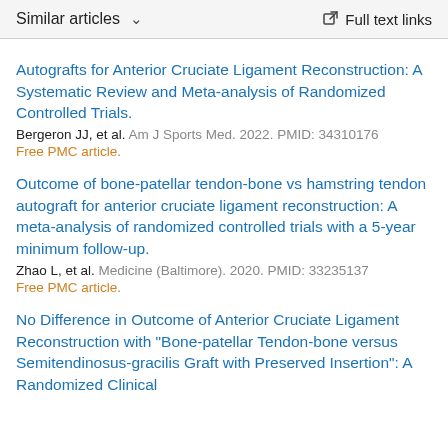Similar articles  ∨   Full text links
Autografts for Anterior Cruciate Ligament Reconstruction: A Systematic Review and Meta-analysis of Randomized Controlled Trials.
Bergeron JJ, et al. Am J Sports Med. 2022. PMID: 34310176
Free PMC article.
Outcome of bone-patellar tendon-bone vs hamstring tendon autograft for anterior cruciate ligament reconstruction: A meta-analysis of randomized controlled trials with a 5-year minimum follow-up.
Zhao L, et al. Medicine (Baltimore). 2020. PMID: 33235137
Free PMC article.
No Difference in Outcome of Anterior Cruciate Ligament Reconstruction with "Bone-patellar Tendon-bone versus Semitendinosus-gracilis Graft with Preserved Insertion": A Randomized Clinical